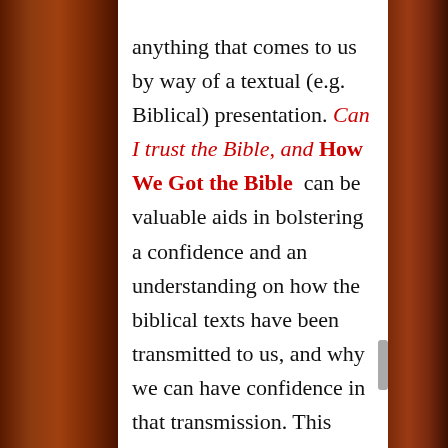anything that comes to us by way of a textual (e.g. Biblical) presentation. Can I trust the Bible, and How We Got the Bible can be valuable aids in bolstering a confidence and an understanding on how the biblical texts have been transmitted to us, and why we can have confidence in that transmission. This groundwork